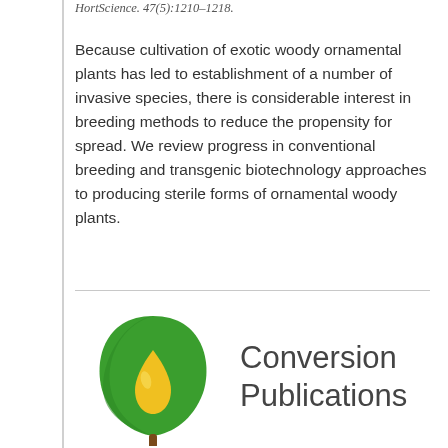HortScience. 47(5):1210-1218.
Because cultivation of exotic woody ornamental plants has led to establishment of a number of invasive species, there is considerable interest in breeding methods to reduce the propensity for spread. We review progress in conventional breeding and transgenic biotechnology approaches to producing sterile forms of ornamental woody plants.
[Figure (logo): Green leaf logo with a yellow teardrop/oil drop shape inside, and a brown stem at the bottom. Represents a conversion publications section logo.]
Conversion Publications